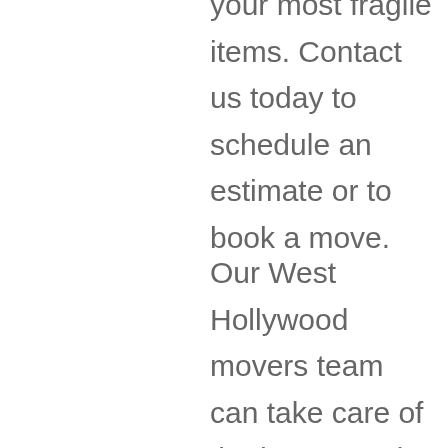your most fragile items. Contact us today to schedule an estimate or to book a move.
Our West Hollywood movers team can take care of the heavy work so that you can focus on other important things.
Winter sports are also enjoyed by many in the surrounding area, with over a dozen ski resorts in the region.
In fact, you can see what your